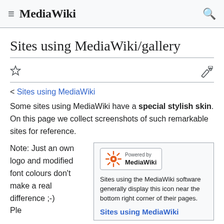≡ MediaWiki 🔍
Sites using MediaWiki/gallery
< Sites using MediaWiki
Some sites using MediaWiki have a special stylish skin. On this page we collect screenshots of such remarkable sites for reference.
Note: Just an own logo and modified font colours don't make a real difference ;-) Please submit...
[Figure (logo): Powered by MediaWiki gear icon badge]
Sites using the MediaWiki software generally display this icon near the bottom right corner of their pages.
Sites using MediaWiki